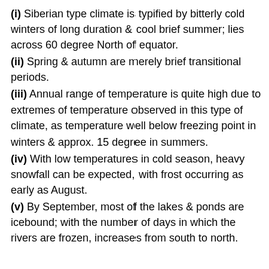(i) Siberian type climate is typified by bitterly cold winters of long duration & cool brief summer; lies across 60 degree North of equator.
(ii) Spring & autumn are merely brief transitional periods.
(iii) Annual range of temperature is quite high due to extremes of temperature observed in this type of climate, as temperature well below freezing point in winters & approx. 15 degree in summers.
(iv) With low temperatures in cold season, heavy snowfall can be expected, with frost occurring as early as August.
(v) By September, most of the lakes & ponds are icebound; with the number of days in which the rivers are frozen, increases from south to north.